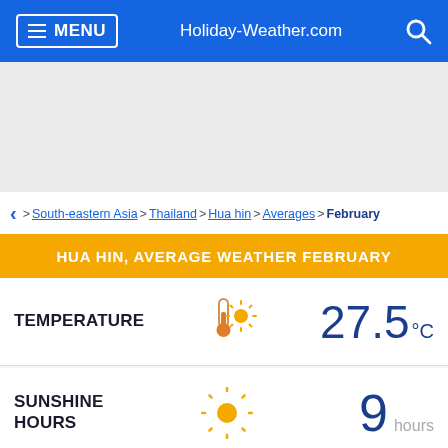MENU | Holiday-Weather.com
> South-eastern Asia > Thailand > Hua hin > Averages > February
HUA HIN, AVERAGE WEATHER FEBRUARY
TEMPERATURE 27.5 °C
SUNSHINE HOURS 9 hours
HIGH TEMPERATURE 32 °C